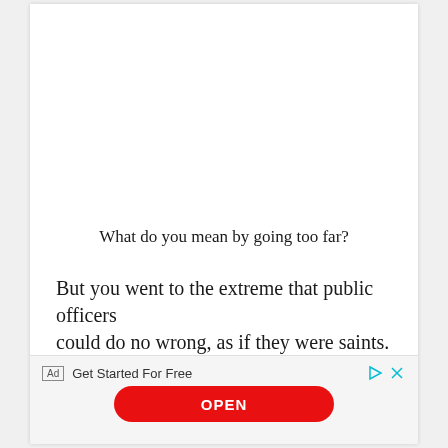What do you mean by going too far?
But you went to the extreme that public officers could do no wrong, as if they were saints. You
[Figure (other): Advertisement banner at bottom: 'Ad | Get Started For Free' with play and close icons, and a red OPEN button]